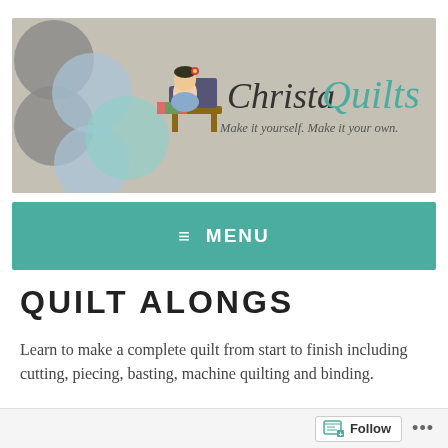[Figure (illustration): ChristaQuilts website header banner with decorative circles in gray, light blue, and mint teal on the left, an illustrated character of a girl sewing at a machine in the center-left, and the site logo text 'ChristaQuilts' in a mixed serif style with 'Christa' in dark/black italic and 'Quilts' in teal italic, plus tagline 'Make it yourself. Make it your own.' below on a gray textured background.]
≡  MENU
QUILT ALONGS
Learn to make a complete quilt from start to finish including cutting, piecing, basting, machine quilting and binding.
Follow  ...